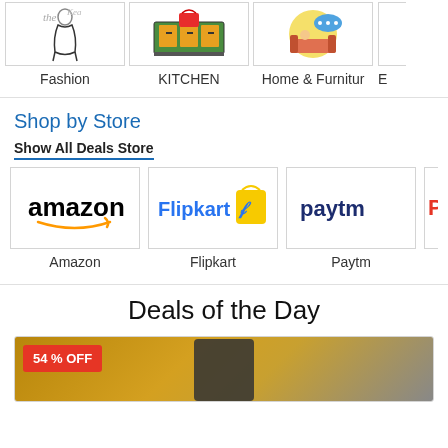[Figure (illustration): Fashion category image showing a figure illustration]
Fashion
[Figure (illustration): Kitchen category image showing kitchen illustration]
KITCHEN
[Figure (illustration): Home & Furniture category image]
Home & Furnitur
Shop by Store
Show All Deals Store
[Figure (logo): Amazon logo]
Amazon
[Figure (logo): Flipkart logo]
Flipkart
[Figure (logo): Paytm logo]
Paytm
Deals of the Day
54 % OFF